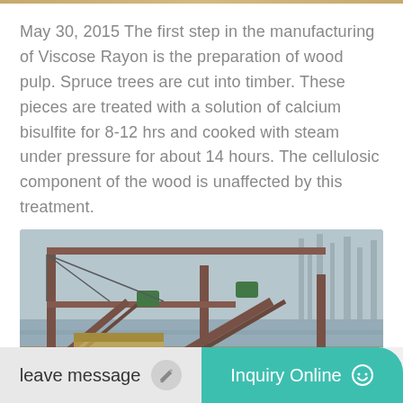May 30, 2015 The first step in the manufacturing of Viscose Rayon is the preparation of wood pulp. Spruce trees are cut into timber. These pieces are treated with a solution of calcium bisulfite for 8-12 hrs and cooked with steam under pressure for about 14 hours. The cellulosic component of the wood is unaffected by this treatment.
[Figure (photo): Industrial manufacturing facility showing heavy machinery, steel frames, conveyor systems, and blue cylindrical tanks near a river/waterway. Overhead crane structure visible.]